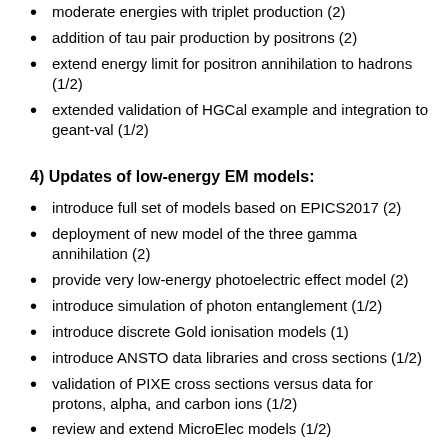moderate energies with triplet production (2)
addition of tau pair production by positrons (2)
extend energy limit for positron annihilation to hadrons (1/2)
extended validation of HGCal example and integration to geant-val (1/2)
4) Updates of low-energy EM models:
introduce full set of models based on EPICS2017 (2)
deployment of new model of the three gamma annihilation (2)
provide very low-energy photoelectric effect model (2)
introduce simulation of photon entanglement (1/2)
introduce discrete Gold ionisation models (1)
introduce ANSTO data libraries and cross sections (1/2)
validation of PIXE cross sections versus data for protons, alpha, and carbon ions (1/2)
review and extend MicroElec models (1/2)